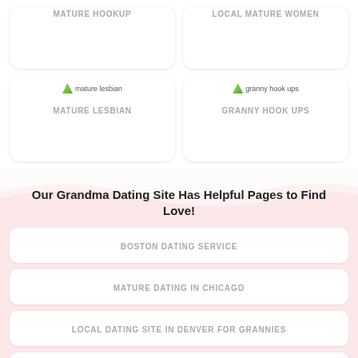MATURE HOOKUP
LOCAL MATURE WOMEN
[Figure (screenshot): mature lesbian card with broken image icon]
MATURE LESBIAN
[Figure (screenshot): granny hook ups card with broken image icon]
GRANNY HOOK UPS
Our Grandma Dating Site Has Helpful Pages to Find Love!
BOSTON DATING SERVICE
MATURE DATING IN CHICAGO
LOCAL DATING SITE IN DENVER FOR GRANNIES
SENIOR DATING SITE IN HOUSTON